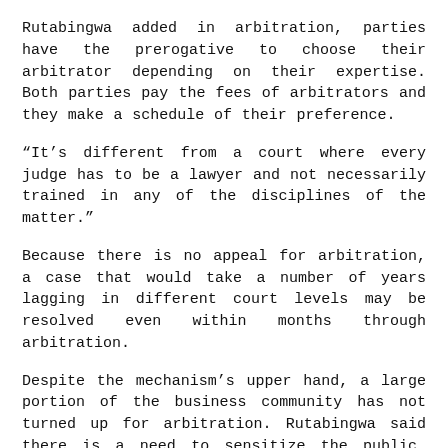Rutabingwa added in arbitration, parties have the prerogative to choose their arbitrator depending on their expertise. Both parties pay the fees of arbitrators and they make a schedule of their preference.
“It’s different from a court where every judge has to be a lawyer and not necessarily trained in any of the disciplines of the matter.”
Because there is no appeal for arbitration, a case that would take a number of years lagging in different court levels may be resolved even within months through arbitration.
Despite the mechanism’s upper hand, a large portion of the business community has not turned up for arbitration. Rutabingwa said there is a need to sensitize the public, noting that business of any type and size is cut for arbitration.
According to Masengo, it is remarkable that a high percentage of the KIAC awards were enforced within at least 3 to 6 months and not even one of these was set aside in the Rwandan courts. To him, the aspect signals trust in the judiciary while promoting Rwanda as an arbitration-friendly destination for services.
Currently, the Government is pushing a new policy that will increase accessibility of ADR services, enhance coordination, and establish a